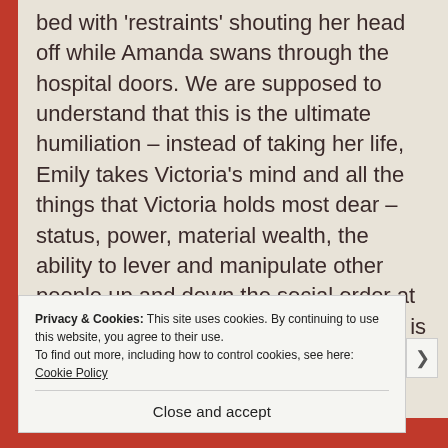bed with 'restraints' shouting her head off while Amanda swans through the hospital doors. We are supposed to understand that this is the ultimate humiliation – instead of taking her life, Emily takes Victoria's mind and all the things that Victoria holds most dear – status, power, material wealth, the ability to lever and manipulate other people up and down the social order at will. Indeed, every one of those things is impossible if people think that you have lost your marbles.
Privacy & Cookies: This site uses cookies. By continuing to use this website, you agree to their use.
To find out more, including how to control cookies, see here: Cookie Policy
Close and accept